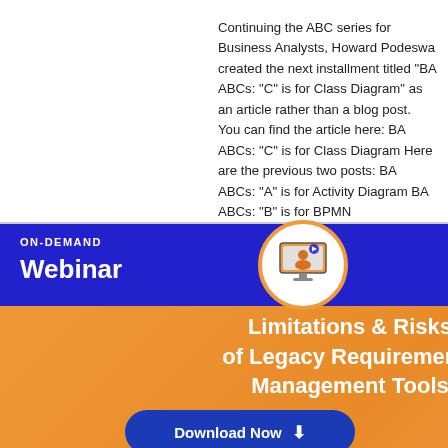Continuing the ABC series for Business Analysts, Howard Podeswa created the next installment titled "BA ABCs: "C" is for Class Diagram" as an article rather than a blog post. You can find the article here: BA ABCs: "C" is for Class Diagram Here are the previous two posts: BA ABCs: "A" is for Activity Diagram BA ABCs: "B" is for BPMN
[Figure (infographic): On-demand webinar advertisement banner with blue bar showing 'ON-DEMAND Webinar' text and a monitor icon in white circle. Orange background with white bold text reading 'Limitations & Risks of Legacy Requirements Management Tools' and a blue 'Download Now' button.]